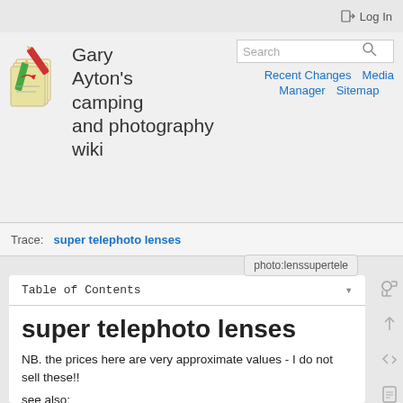Log In
[Figure (logo): DokuWiki pencil/notes logo icon]
Gary Ayton's camping and photography wiki
Search
Recent Changes   Media Manager   Sitemap
Trace: · super telephoto lenses
photo:lenssupertele
Table of Contents
super telephoto lenses
NB. the prices here are very approximate values - I do not sell these!!
see also:
lenses